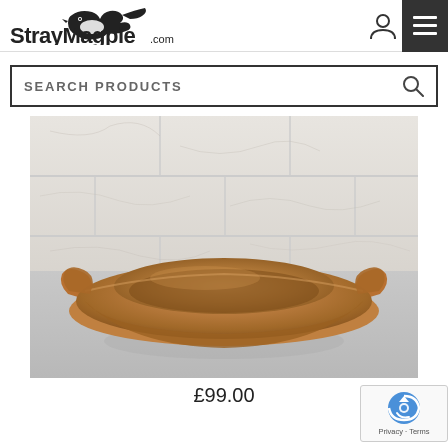StrayMagpie
SEARCH PRODUCTS
[Figure (photo): A wooden dough bowl with decorative carved handles on each side, photographed against a marble tile wall background on a grey concrete surface. The bowl is oval-shaped with a warm brown/tan color.]
£99.00